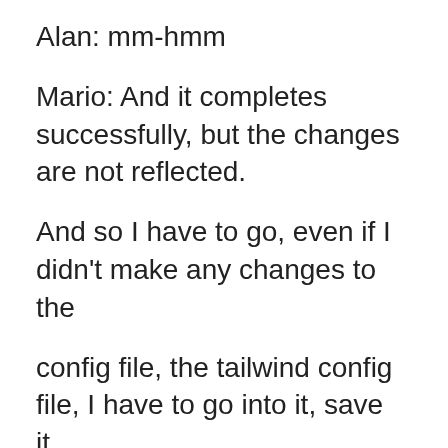Alan: mm-hmm
Mario: And it completes successfully, but the changes are not reflected.
And so I have to go, even if I didn't make any changes to the
config file, the tailwind config file, I have to go into it, save it.
And then it builds again.
And then I see the changes.